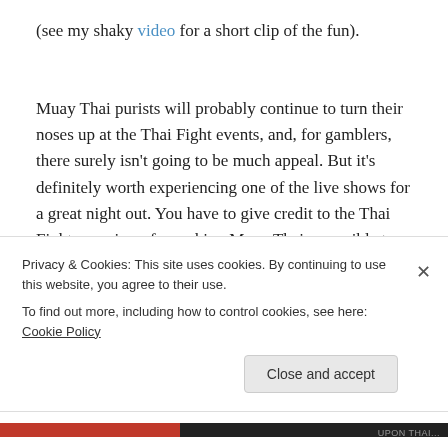(see my shaky video for a short clip of the fun).
Muay Thai purists will probably continue to turn their noses up at the Thai Fight events, and, for gamblers, there surely isn't going to be much appeal. But it's definitely worth experiencing one of the live shows for a great night out. You have to give credit to the Thai Fight organisers for making Muay Thai accessible to the masses—where else
Privacy & Cookies: This site uses cookies. By continuing to use this website, you agree to their use.
To find out more, including how to control cookies, see here: Cookie Policy